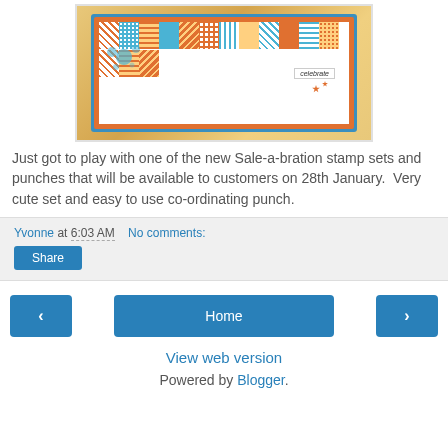[Figure (photo): Photo of a handmade 'celebrate' greeting card with colorful patchwork pattern, orange border, blue stars, and paint splatter effects on an orange/yellow background.]
Just got to play with one of the new Sale-a-bration stamp sets and punches that will be available to customers on 28th January.  Very cute set and easy to use co-ordinating punch.
Yvonne at 6:03 AM   No comments:
Share
‹
Home
›
View web version
Powered by Blogger.